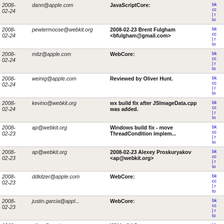| Date | Email | Description | Links |
| --- | --- | --- | --- |
| 2008-02-24 | dann@apple.com | JavaScriptCore: | bk | cc | r | to |
| 2008-02-24 | pewtermoose@webkit.org | 2008-02-23 Brent Fulgham <bfulgham@gmail.com> | bk | cc | r | to |
| 2008-02-24 | mitz@apple.com | WebCore: | bk | cc | r | to |
| 2008-02-24 | weinig@apple.com | Reviewed by Oliver Hunt. | bk | cc | r | to |
| 2008-02-24 | kevino@webkit.org | wx build fix after JSImageData.cpp was added. | bk | cc | r | to |
| 2008-02-23 | ap@webkit.org | Windows build fix - move ThreadCondition implem... | bk | cc | r | to |
| 2008-02-23 | ap@webkit.org | 2008-02-23 Alexey Proskuryakov <ap@webkit.org> | bk | cc | r | to |
| 2008-02-23 | ddkilzer@apple.com | WebCore: | bk | cc | r | to |
| 2008-02-23 | justin.garcia@appl... | WebCore: | bk | cc | r | to |
| 2008-02-23 | oliver@apple.com | WX build fixes | bk | cc | r | to |
| 2008-02-23 | mrowe@apple.com | Roll out r30500 as it breaks non- | bk | cc | r | to |